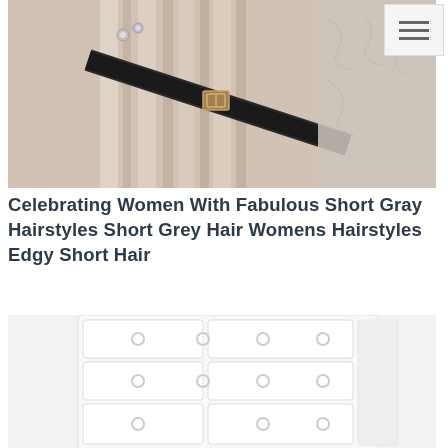[Figure (photo): Close-up photo of a pleated light beige/cream fabric (likely a skirt or bag) with a buckled black leather belt or strap across it, and what appears to be a jeweled/studded accessory.]
Celebrating Women With Fabulous Short Gray Hairstyles Short Grey Hair Womens Hairstyles Edgy Short Hair
[Figure (photo): Photo of a white dresser/chest of drawers with multiple drawers each featuring circular ring pulls, partially cropped at the bottom of the page.]